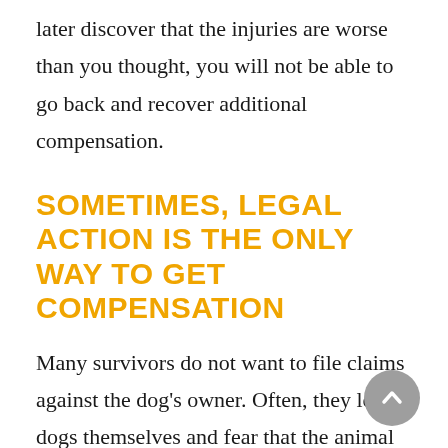later discover that the injuries are worse than you thought, you will not be able to go back and recover additional compensation.
SOMETIMES, LEGAL ACTION IS THE ONLY WAY TO GET COMPENSATION
Many survivors do not want to file claims against the dog's owner. Often, they love dogs themselves and fear that the animal will be put to sleep. But taking legal action against the owner is often the only way to recover full compensation for your damages. Elk & Elk can help you with your claim, protect your rights and